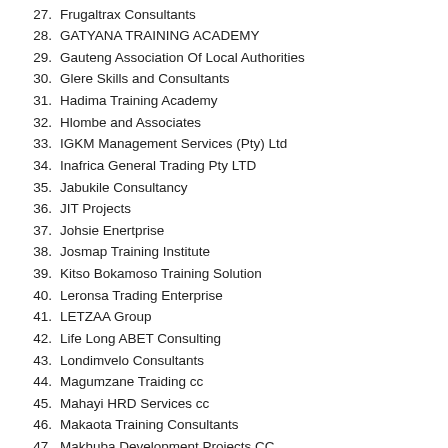27. Frugaltrax Consultants
28. GATYANA TRAINING ACADEMY
29. Gauteng Association Of Local Authorities
30. Glere Skills and Consultants
31. Hadima Training Academy
32. Hlombe and Associates
33. IGKM Management Services (Pty) Ltd
34. Inafrica General Trading Pty LTD
35. Jabukile Consultancy
36. JIT Projects
37. Johsie Enertprise
38. Josmap Training Institute
39. Kitso Bokamoso Training Solution
40. Leronsa Trading Enterprise
41. LETZAA Group
42. Life Long ABET Consulting
43. Londimvelo Consultants
44. Magumzane Traiding cc
45. Mahayi HRD Services cc
46. Makaota Training Consultants
47. Makhuba Development Projects CC
48. Mamuhle Academy
49. Management College of Southern Africa (MANCOSA)
50. Matsila Holdings
51. MENTORNET (PTY) LTD
52. MJ Mafunisa Consulting (PTY) LTD
53. Mmanape Management Solutions